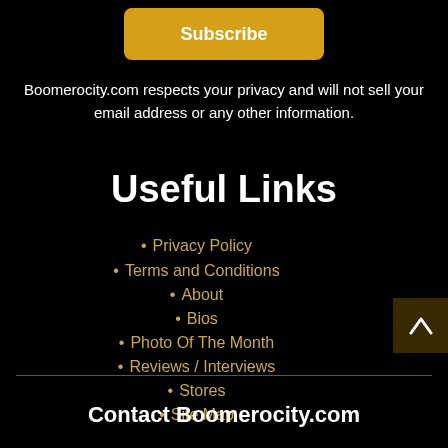[Figure (other): Subscribe button (gold/yellow rounded rectangle)]
Boomerocity.com respects your privacy and will not sell your email address or any other information.
Useful Links
Privacy Policy
Terms and Conditions
About
Bios
Photo Of The Month
Reviews / Interviews
Stores
Site Map
Login
Contact Boomerocity.com